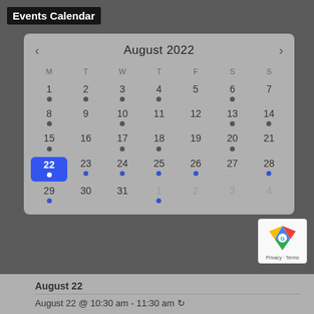Events Calendar
[Figure (other): August 2022 events calendar widget with navigation arrows, days of week headers (M T W T F S S), and dates 1-31 plus overflow dates 1-4. Day 22 is highlighted in blue (selected). Dark dots appear on days: 1,2,3,4,6,8,10,13,14,15,17,18,20. Blue dots appear on days: 22(white),23,24,25,26,28,29,31(sep),1(sep).]
August 22
August 22 @ 10:30 am - 11:30 am ↺